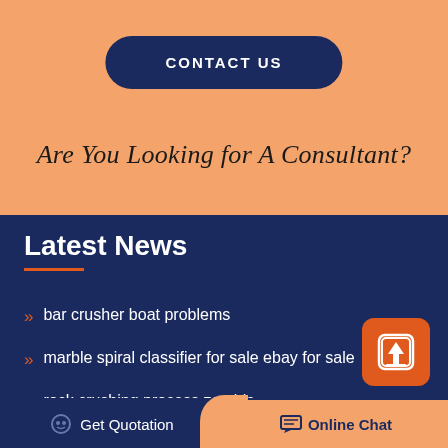CONTACT US
Are You Looking for A Consultant?
Latest News
bar crusher boat problems
marble spiral classifier for sale ebay for sale
rock crushing process zombie
new technology in mining gold in south africa ore crusher
Get Quotation
Online Chat